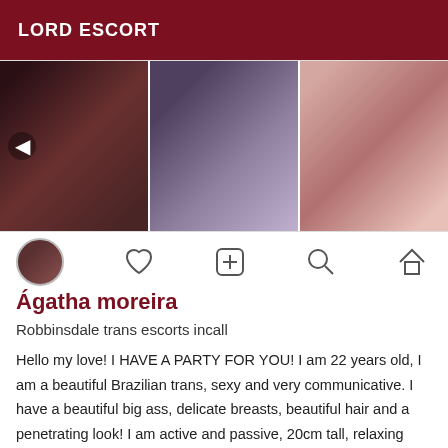LORD ESCORT
[Figure (photo): Three photos in a horizontal strip showing women in lingerie]
Ágatha moreira
Robbinsdale trans escorts incall
Hello my love! I HAVE A PARTY FOR YOU! I am 22 years old, I am a beautiful Brazilian trans, sexy and very communicative. I have a beautiful big ass, delicate breasts, beautiful hair and a penetrating look! I am active and passive, 20cm tall, relaxing massage, juicy oral. I am the ideal doll to make your wishes come true! I love